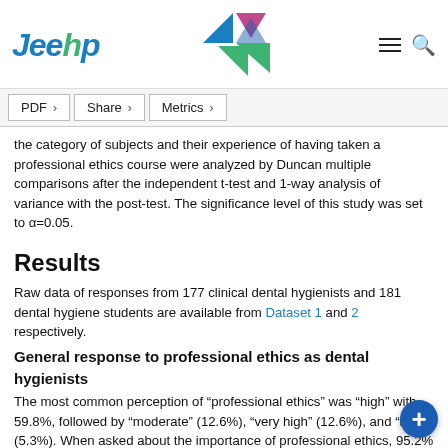Jeehp
the category of subjects and their experience of having taken a professional ethics course were analyzed by Duncan multiple comparisons after the independent t-test and 1-way analysis of variance with the post-test. The significance level of this study was set to α=0.05.
Results
Raw data of responses from 177 clinical dental hygienists and 181 dental hygiene students are available from Dataset 1 and 2 respectively.
General response to professional ethics as dental hygienists
The most common perception of "professional ethics" was "high" with 59.8%, followed by "moderate" (12.6%), "very high" (12.6%), and "low" (5.3%). When asked about the importance of professional ethics, 95.2% of the respondents answered that it was important or very important. The largest proportion (40.5%) of the respondents indicated that they did not remember whether they had completed a